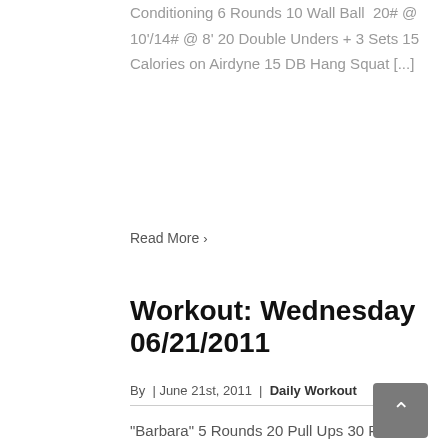Conditioning 6 Rounds 10 Wall Ball  20# @ 10'/14# @ 8' 20 Double Unders + 3 Sets 15 Calories on Airdyne 15 DB Hang Squat [...]
Read More >
Workout: Wednesday 06/21/2011
By  | June 21st, 2011  |  Daily Workout
"Barbara" 5 Rounds 20 Pull Ups 30 Push Ups 40 Sit Ups 50 Squats Rest Exactly 3 Minutes Between Rounds Between sets…